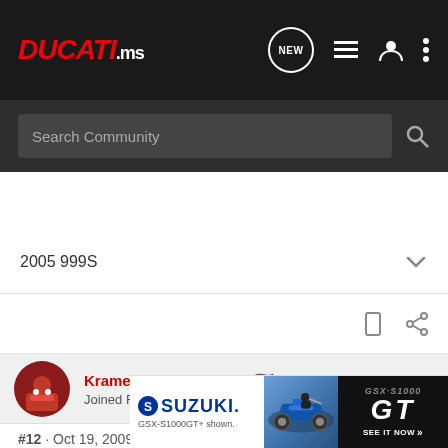DUCATI.ms
Search Community
2005 999S
Kramer749 · Registered
Joined Feb 13, 2009 · 232 Posts
#12 · Oct 19, 2009
yeah the aluminum isn't the best quality, so it might get messed up. I use A and it came ri for 4
[Figure (photo): Suzuki GSX-S1000GT advertisement showing a motorcycle and rider with mountains in background, with 'SEE IT NOW' CTA button]